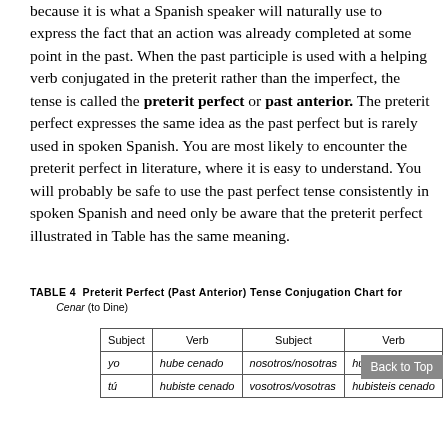because it is what a Spanish speaker will naturally use to express the fact that an action was already completed at some point in the past. When the past participle is used with a helping verb conjugated in the preterit rather than the imperfect, the tense is called the preterit perfect or past anterior. The preterit perfect expresses the same idea as the past perfect but is rarely used in spoken Spanish. You are most likely to encounter the preterit perfect in literature, where it is easy to understand. You will probably be safe to use the past perfect tense consistently in spoken Spanish and need only be aware that the preterit perfect illustrated in Table has the same meaning.
TABLE 4 Preterit Perfect (Past Anterior) Tense Conjugation Chart for Cenar (to Dine)
| Subject | Verb | Subject | Verb |
| --- | --- | --- | --- |
| yo | hube cenado | nosotros/nosotras | hubimos cenado |
| tú | hubiste cenado | vosotros/vosotras | hubisteis cenado |